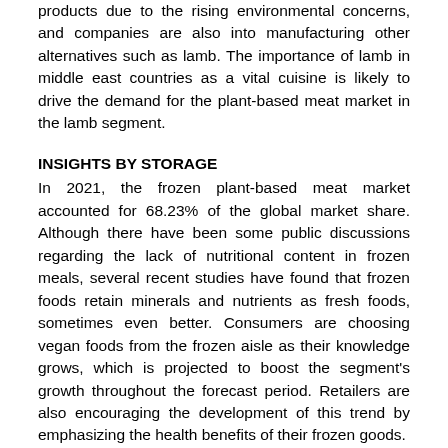products due to the rising environmental concerns, and companies are also into manufacturing other alternatives such as lamb. The importance of lamb in middle east countries as a vital cuisine is likely to drive the demand for the plant-based meat market in the lamb segment.
INSIGHTS BY STORAGE
In 2021, the frozen plant-based meat market accounted for 68.23% of the global market share. Although there have been some public discussions regarding the lack of nutritional content in frozen meals, several recent studies have found that frozen foods retain minerals and nutrients as fresh foods, sometimes even better. Consumers are choosing vegan foods from the frozen aisle as their knowledge grows, which is projected to boost the segment's growth throughout the forecast period. Retailers are also encouraging the development of this trend by emphasizing the health benefits of their frozen goods.
The demand for ready-to-cook alternatives encourages